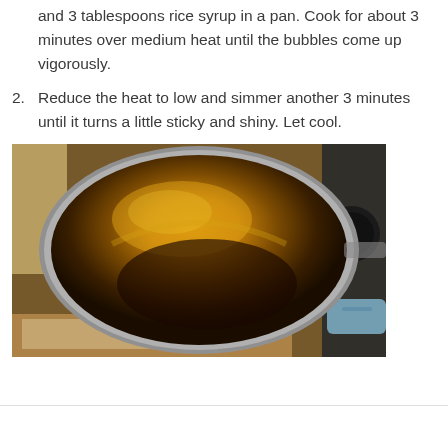and 3 tablespoons rice syrup in a pan. Cook for about 3 minutes over medium heat until the bubbles come up vigorously.
2. Reduce the heat to low and simmer another 3 minutes until it turns a little sticky and shiny. Let cool.
[Figure (photo): Overhead view of a stainless steel saucepan containing a golden-brown to dark sticky syrup mixture, sitting on a stovetop. A blue spatula and other kitchen items are visible in the background.]